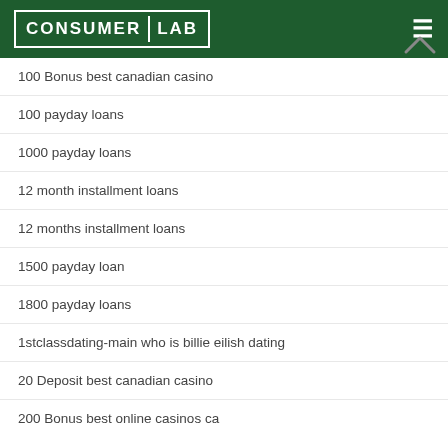Consumer Lab
100 Bonus best canadian casino
100 payday loans
1000 payday loans
12 month installment loans
12 months installment loans
1500 payday loan
1800 payday loans
1stclassdating-main who is billie eilish dating
20 Deposit best canadian casino
200 Bonus best online casinos ca